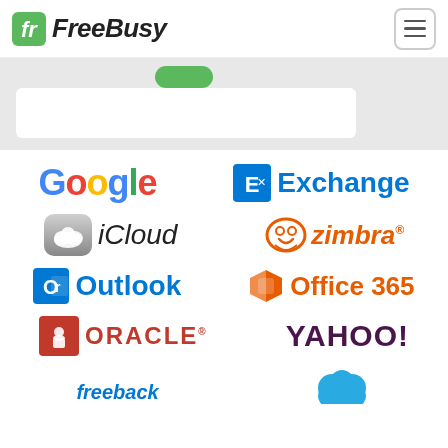FreeBusy
[Figure (screenshot): FreeBusy website header showing logo and hamburger menu, with a partial hero banner below containing a white input box and green button on a light grey background]
[Figure (infographic): Grid of calendar/email service logos: Google, Exchange, iCloud, Zimbra, Outlook, Office 365, Oracle, Yahoo!, and partial logos for two more services at the bottom]